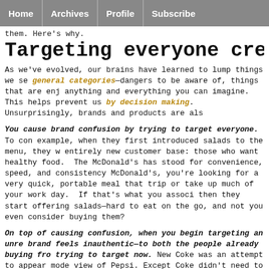Home | Archives | Profile | Subscribe
them. Here's why.
Targeting everyone creates bran
As we've evolved, our brains have learned to lump things we se general categories—dangers to be aware of, things that are enj anything and everything you can imagine. This helps prevent us by decision making. Unsurprisingly, brands and products are als
You cause brand confusion by trying to target everyone. To con example, when they first introduced salads to the menu, they w entirely new customer base: those who want healthy food. The McDonald's has stood for convenience, speed, and consistency McDonald's, you're looking for a very quick, portable meal that trip or take up much of your work day. If that's what you associ then they start offering salads—hard to eat on the go, and not you even consider buying them?
On top of causing confusion, when you begin targeting an unre brand feels inauthentic—to both the people already buying fro trying to target now. New Coke was an attempt to appear mode view of Pepsi. Except Coke didn't need to do that. Their custom